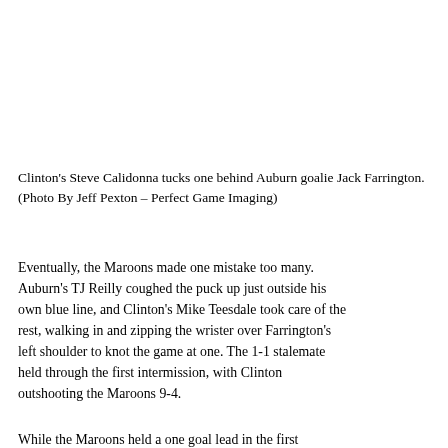Clinton's Steve Calidonna tucks one behind Auburn goalie Jack Farrington. (Photo By Jeff Pexton – Perfect Game Imaging)
Eventually, the Maroons made one mistake too many. Auburn's TJ Reilly coughed the puck up just outside his own blue line, and Clinton's Mike Teesdale took care of the rest, walking in and zipping the wrister over Farrington's left shoulder to knot the game at one. The 1-1 stalemate held through the first intermission, with Clinton outshooting the Maroons 9-4.
While the Maroons held a one goal lead in the first...